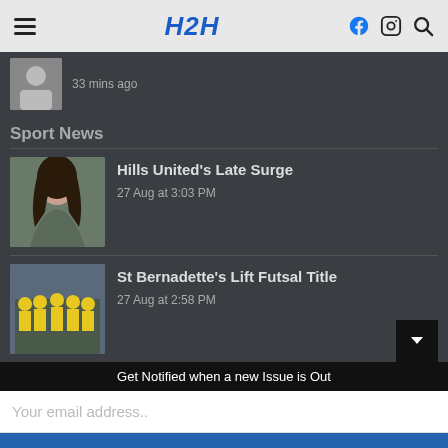H2H
33 mins ago
Sport News
[Figure (photo): Photo of a woman with dark hair smiling]
Hills United's Late Surge
27 Aug at 3:03 PM
[Figure (photo): Photo of a futsal team in yellow uniforms]
St Bernadette's Lift Futsal Title
27 Aug at 2:58 PM
Get Notified when a new Issue is Out
Your email address..
SUBSCRIBE